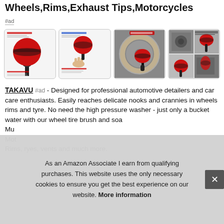Wheels,Rims,Exhaust Tips,Motorcycles
#ad
[Figure (photo): Four product images of a red and black wheel rim cleaning brush in use]
TAKAVU #ad - Designed for professional automotive detailers and car care enthusiasts. Easily reaches delicate nooks and crannies in wheels rims and tyre. No need the high pressure washer - just only a bucket water with our wheel tire brush and soa... Mu... Mot... Rims, ryes, vents and much more.
As an Amazon Associate I earn from qualifying purchases. This website uses the only necessary cookies to ensure you get the best experience on our website. More information